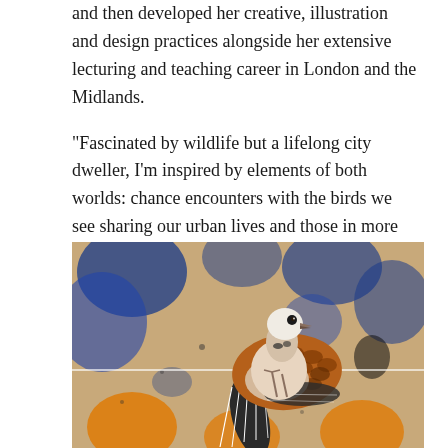and then developed her creative, illustration and design practices alongside her extensive lecturing and teaching career in London and the Midlands.
“Fascinated by wildlife but a lifelong city dweller, I’m inspired by elements of both worlds: chance encounters with the birds we see sharing our urban lives and those in more rural settings,” she says.
[Figure (photo): Artwork showing a detailed illustrated turtle dove bird perched on a wire, set against a spray-painted background with blue, orange, and tan colors in an urban street-art style.]